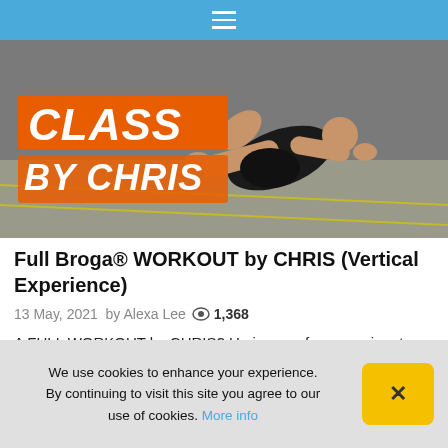≡
[Figure (photo): A man doing a workout exercise (planche or push-up variation) outdoors on a paved surface. Text overlay reads 'CLASS BY CHRIS' with orange and white styling.]
Full Broga® WORKOUT by CHRIS (Vertical Experience)
13 May, 2021  by Alexa Lee  👁 1,368
A FULL WORKOUT by CHRIS? He is one of our passionate students who is now on a mission to spread the love of Broga® ?. Shout out to Chris for the amazing tutorials ? Share your thoughts with @broga.
We use cookies to enhance your experience. By continuing to visit this site you agree to our use of cookies. More info